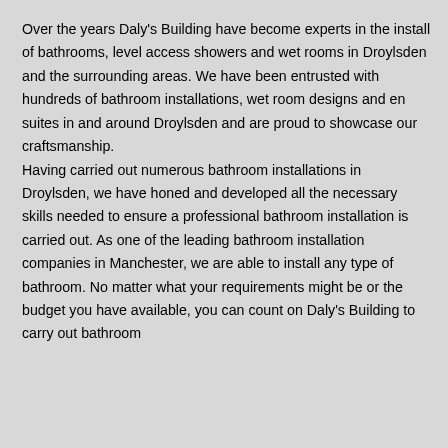Over the years Daly's Building have become experts in the install of bathrooms, level access showers and wet rooms in Droylsden and the surrounding areas. We have been entrusted with hundreds of bathroom installations, wet room designs and en suites in and around Droylsden and are proud to showcase our craftsmanship.
Having carried out numerous bathroom installations in Droylsden, we have honed and developed all the necessary skills needed to ensure a professional bathroom installation is carried out. As one of the leading bathroom installation companies in Manchester, we are able to install any type of bathroom. No matter what your requirements might be or the budget you have available, you can count on Daly's Building to carry out bathroom